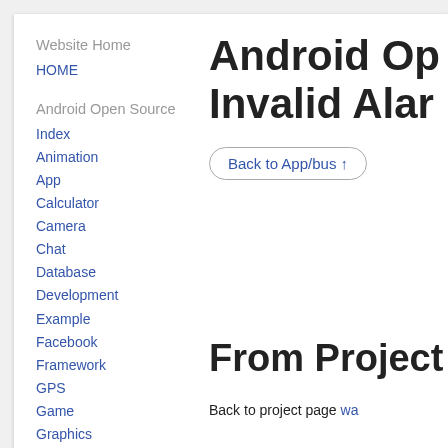Website Home
HOME
Android Open Source
Index
Animation
App
Calculator
Camera
Chat
Database
Development
Example
Facebook
Framework
GPS
Game
Graphics
Hardware
Image
Android Op… Invalid Alar…
Back to App/bus ↑
From Project
Back to project page wa…